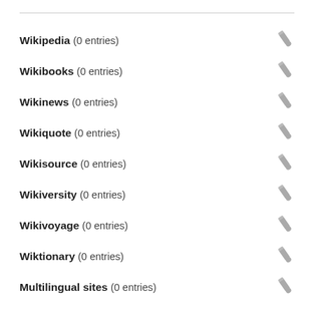Wikipedia (0 entries)
Wikibooks (0 entries)
Wikinews (0 entries)
Wikiquote (0 entries)
Wikisource (0 entries)
Wikiversity (0 entries)
Wikivoyage (0 entries)
Wiktionary (0 entries)
Multilingual sites (0 entries)